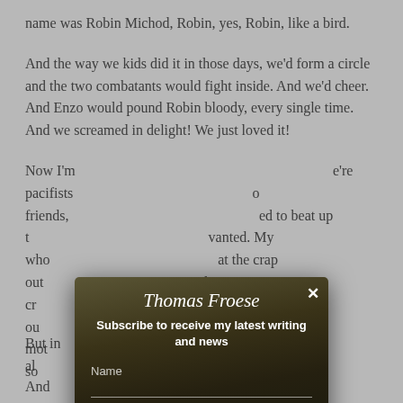name was Robin Michod, Robin, yes, Robin, like a bird.
And the way we kids did it in those days, we'd form a circle and the two combatants would fight inside. And we'd cheer. And Enzo would pound Robin bloody, every single time. And we screamed in delight! We just loved it!
Now I'm ... we're pacifists ... friends, ... ed to beat up ... wanted. My who... at the crap out... there was a c... her came ou... called his mot... repeat here, so...
[Figure (screenshot): A subscription modal popup for 'Thomas Froese' newsletter. The modal has a background photo of a middle-aged man with glasses and gray beard. The modal contains the title 'Thomas Froese' in italic script, subtitle 'Subscribe to receive my latest writing and news', Name and Email input fields with underlines, and a dark red Subscribe button. There is an X close button in the top right corner.]
But in al...
And...